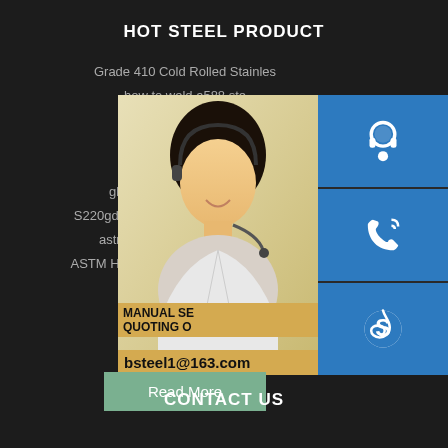HOT STEEL PRODUCT
Grade 410 Cold Rolled Stainles…
how to weld a588 ste…
specific gravity of s355…
astm a240 304 facto…
bsen 10 025 s275
gb t1591 standard manufa…
S220gd Z275 0.55mm Thickness 24 G…
astm a283grb indian standard…
ASTM Hot Cold Rolled Aluminum Sheet…
astm a514 t1
[Figure (photo): Customer service representative photo with contact icons (headset, phone, Skype) and email bsteel1@163.com]
MANUAL SE… QUOTING O… bsteel1@163.com
Read More
CONTACT US